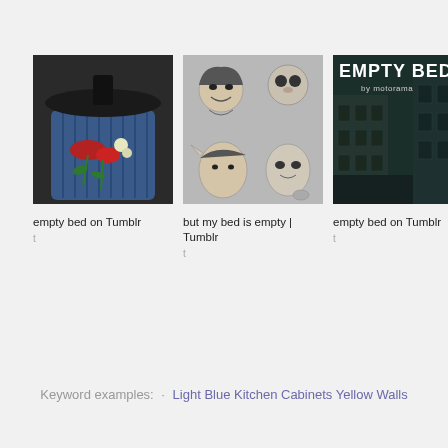[Figure (photo): Photo of a blue trash can with red roses inside, lid partially open, dark background]
empty bed on Tumblr
t
[Figure (illustration): Pencil sketch illustration of animated characters, featuring a smiling girl with a headscarf and fantasy creatures on gray background]
but my bed is empty | Tumblr
t
[Figure (photo): Dark green tinted album cover reading 'EMPTY BED by motorama' with a street scene of buildings]
empty bed on Tumblr
t
Keyword examples:  ·  Light Blue Kitchen Cabinets Yellow Walls